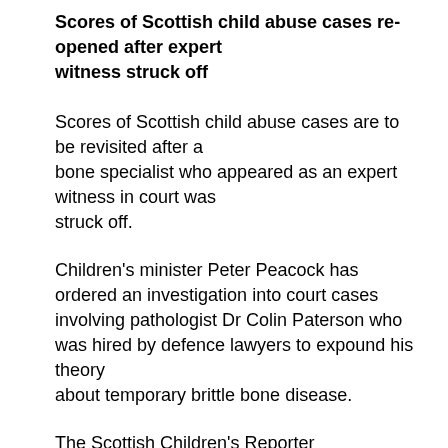Scores of Scottish child abuse cases re-opened after expert witness struck off
Scores of Scottish child abuse cases are to be revisited after a bone specialist who appeared as an expert witness in court was struck off.
Children's minister Peter Peacock has ordered an investigation into court cases involving pathologist Dr Colin Paterson who was hired by defence lawyers to expound his theory about temporary brittle bone disease.
The Scottish Children's Reporter Administration has been asked to establish whether there are any cases involving Paterson “that give concern”